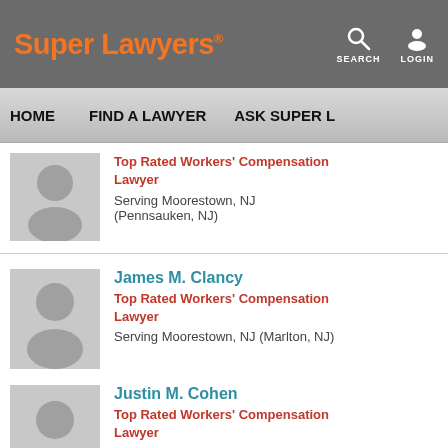Super Lawyers — SEARCH LOGIN
HOME   FIND A LAWYER   ASK SUPER L…
Top Rated Workers' Compensation Lawyer
Serving Moorestown, NJ
(Pennsauken, NJ)
James M. Clancy
Top Rated Workers' Compensation Lawyer
Serving Moorestown, NJ (Marlton, NJ)
Justin M. Cohen
Top Rated Workers' Compensation Lawyer
Serving Moorestown, NJ (Cherry Hill, NJ)